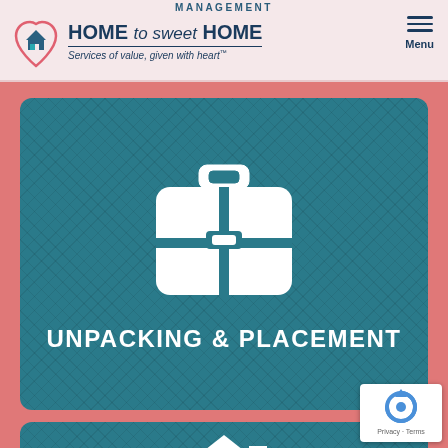MANAGEMENT HOME to sweet HOME Services of value, given with heart™
[Figure (illustration): Suitcase/luggage icon in white on teal background card labeled UNPACKING & PLACEMENT]
UNPACKING & PLACEMENT
[Figure (illustration): House icon in white on teal background card, partially visible at bottom of page]